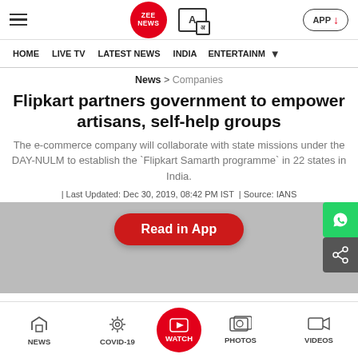ZEE NEWS — APP
HOME | LIVE TV | LATEST NEWS | INDIA | ENTERTAINM
News > Companies
Flipkart partners government to empower artisans, self-help groups
The e-commerce company will collaborate with state missions under the DAY-NULM to establish the `Flipkart Samarth programme` in 22 states in India.
| Last Updated: Dec 30, 2019, 08:42 PM IST | Source: IANS
Read in App
NEWS | COVID-19 | WATCH | PHOTOS | VIDEOS